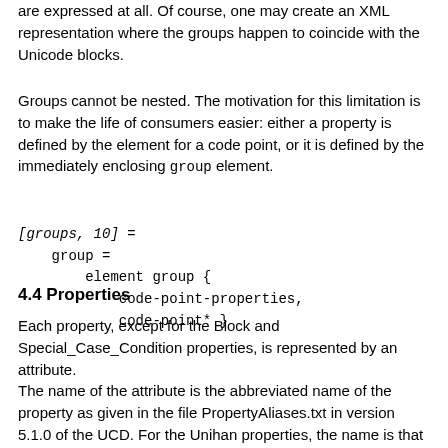are expressed at all. Of course, one may create an XML representation where the groups happen to coincide with the Unicode blocks.
Groups cannot be nested. The motivation for this limitation is to make the life of consumers easier: either a property is defined by the element for a code point, or it is defined by the immediately enclosing group element.
4.4 Properties
Each property, except for the Block and Special_Case_Condition properties, is represented by an attribute.
The name of the attribute is the abbreviated name of the property as given in the file PropertyAliases.txt in version 5.1.0 of the UCD. For the Unihan properties, the name is that given